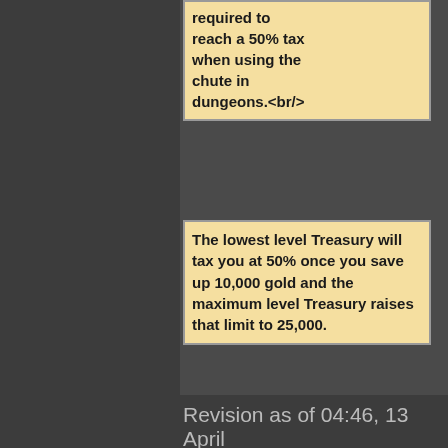required to reach a 50% tax when using the chute in dungeons.<br/>
The lowest level Treasury will tax you at 50% once you save up 10,000 gold and the maximum level Treasury raises that limit to 25,000.
==Upgrades, Costs, Effects==
==Upgrades, Costs, Effects==
Revision as of 04:46, 13 April